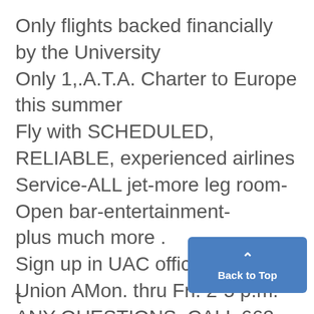Only flights backed financially by the University
Only 1,.A.T.A. Charter to Europe this summer
Fly with SCHEDULED, RELIABLE, experienced airlines
Service-ALL jet-more leg room-Open bar-entertainment-
plus much more .
Sign up in UAC offices 2nd floor Union AMon. thru Fri. 2-5 p.m.
ANY QUESTIONS, CALL 662-4431 EXT. 22
t